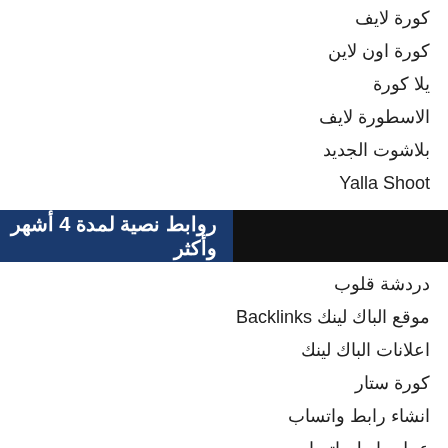كورة لايف
كورة اون لاين
يلا كورة
الاسطورة لايف
بلاشوت الجديد
Yalla Shoot
روابط نصية لمدة 4 أشهر وأكثر
دردشة قلوب
موقع الباك لينك Backlinks
اعلانات الباك لينك
كورة ستار
انشاء رابط واتساب
عمل رابط واتساب
رابط واتساب
تحويل الصور